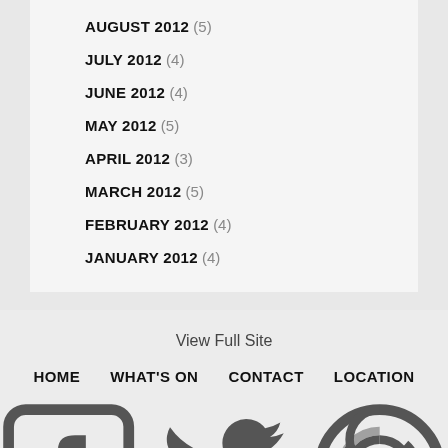AUGUST 2012 (5)
JULY 2012 (4)
JUNE 2012 (4)
MAY 2012 (5)
APRIL 2012 (3)
MARCH 2012 (5)
FEBRUARY 2012 (4)
JANUARY 2012 (4)
View Full Site   HOME   WHAT'S ON   CONTACT   LOCATION